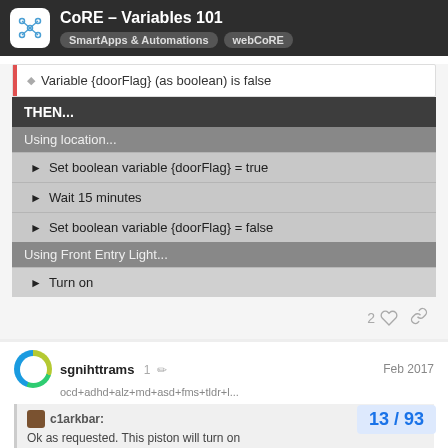CoRE – Variables 101 | SmartApps & Automations | webCoRE
Variable {doorFlag} (as boolean) is false
THEN...
Using location...
► Set boolean variable {doorFlag} = true
► Wait 15 minutes
► Set boolean variable {doorFlag} = false
Using Front Entry Light...
► Turn on
sgnihttrams  1  Feb 2017
ocd+adhd+alz+md+asd+fms+tldr+l...
c1arkbar:
Ok as requested. This piston will turn on